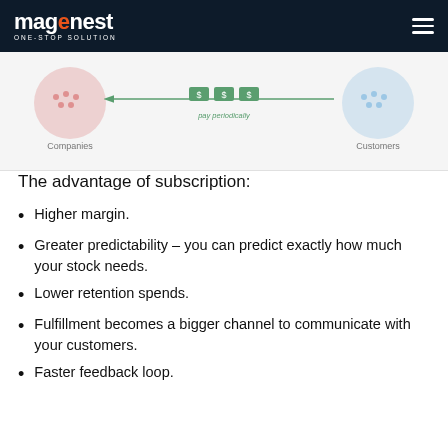magenest ONE-STOP SOLUTION
[Figure (infographic): Diagram showing Companies (red circle) on left connected to Customers (blue circle) on right via arrows and money icons, labeled 'pay periodically' in the middle.]
The advantage of subscription:
Higher margin.
Greater predictability – you can predict exactly how much your stock needs.
Lower retention spends.
Fulfillment becomes a bigger channel to communicate with your customers.
Faster feedback loop.